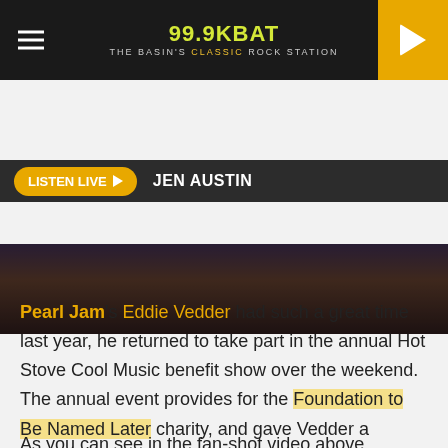99.9 KBAT — The Basin's Classic Rock Station
LISTEN LIVE ▶   JEN AUSTIN
[Figure (photo): Concert photo with band on stage, dark lighting with colorful elements]
Share   Tweet
Pearl Jam's Eddie Vedder had such a great time last year, he returned to take part in the annual Hot Stove Cool Music benefit show over the weekend. The annual event provides for the Foundation to Be Named Later charity, and gave Vedder a chance to once again do some good on behalf of Chicago Cubs president Theo Epstein while hobnobbing with legendary baseball writer Peter Gammons.
As you can see in the fan-shot video above, Vedder